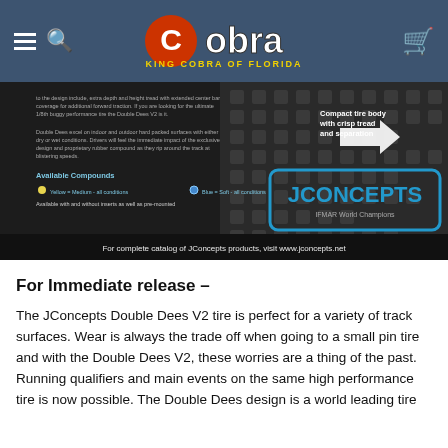King Cobra of Florida — Navigation header with Cobra logo
[Figure (photo): JConcepts Double Dees V2 tire product banner with text overlay: 'Compact tire body with crisp tread and separation', 'Available Compounds', 'Yellow = Medium - all conditions', 'Blue = Soft - all conditions', 'Available with and without inserts as well as pre-mounted', 'For complete catalog of JConcepts products, visit www.jconcepts.net']
For Immediate release –
The JConcepts Double Dees V2 tire is perfect for a variety of track surfaces. Wear is always the trade off when going to a small pin tire and with the Double Dees V2, these worries are a thing of the past. Running qualifiers and main events on the same high performance tire is now possible. The Double Dees design is a world leading tire